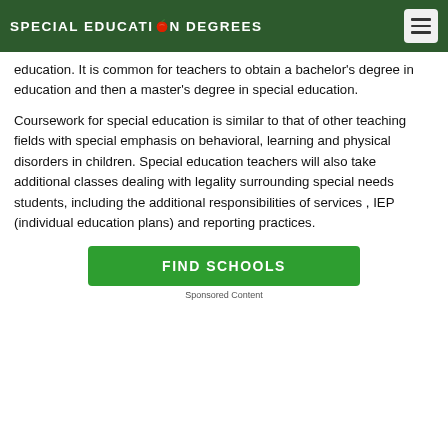SPECIAL EDUCATION DEGREES
education. It is common for teachers to obtain a bachelor's degree in education and then a master's degree in special education.
Coursework for special education is similar to that of other teaching fields with special emphasis on behavioral, learning and physical disorders in children. Special education teachers will also take additional classes dealing with legality surrounding special needs students, including the additional responsibilities of services , IEP (individual education plans) and reporting practices.
[Figure (other): Green FIND SCHOOLS button]
Sponsored Content